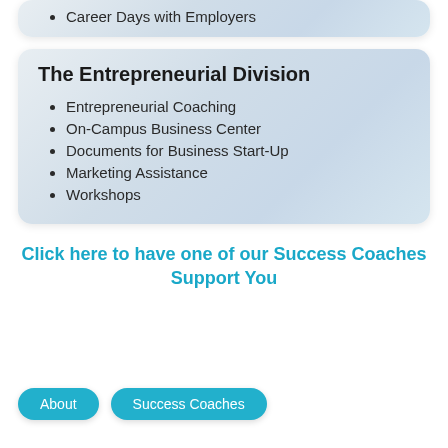Career Days with Employers
The Entrepreneurial Division
Entrepreneurial Coaching
On-Campus Business Center
Documents for Business Start-Up
Marketing Assistance
Workshops
Click here to have one of our Success Coaches Support You
About   Success Coaches